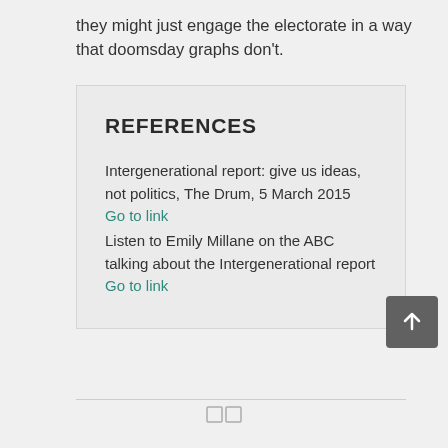they might just engage the electorate in a way that doomsday graphs don't.
REFERENCES
Intergenerational report: give us ideas, not politics, The Drum, 5 March 2015
Go to link
Listen to Emily Millane on the ABC talking about the Intergenerational report
Go to link